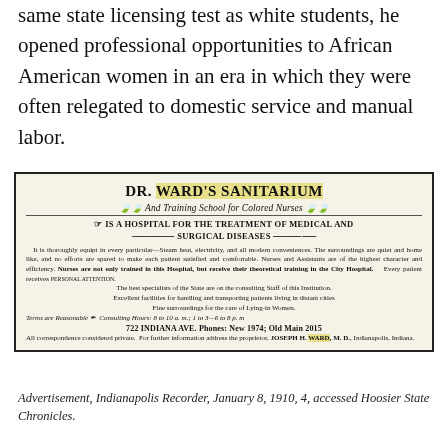same state licensing test as white students, he opened professional opportunities to African American women in an era in which they were often relegated to domestic service and manual labor.
[Figure (other): Historical newspaper advertisement for Dr. Ward's Sanitarium and Training School for Colored Nurses, describing hospital services, consulting hours, address at 722 Indiana Ave, and contact information for Joseph H. Ward, M.D., Indianapolis, Indiana.]
Advertisement, Indianapolis Recorder, January 8, 1910, 4, accessed Hoosier State Chronicles.